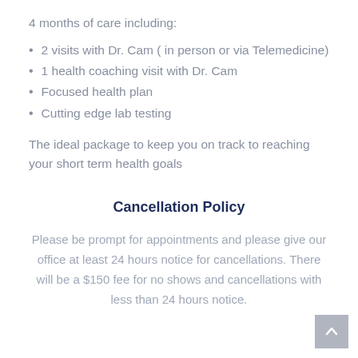4 months of care including:
2 visits with Dr. Cam ( in person or via Telemedicine)
1 health coaching visit with Dr. Cam
Focused health plan
Cutting edge lab testing
The ideal package to keep you on track to reaching your short term health goals
Cancellation Policy
Please be prompt for appointments and please give our office at least 24 hours notice for cancellations. There will be a $150 fee for no shows and cancellations with less than 24 hours notice.